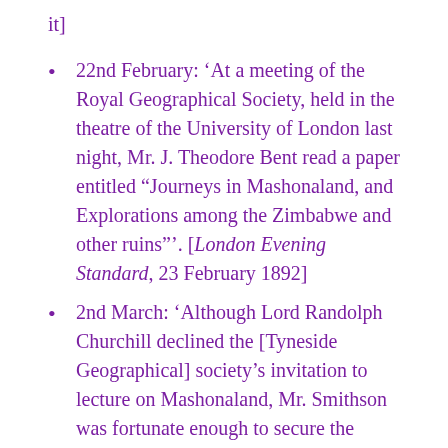it]
22nd February: ‘At a meeting of the Royal Geographical Society, held in the theatre of the University of London last night, Mr. J. Theodore Bent read a paper entitled “Journeys in Mashonaland, and Explorations among the Zimbabwe and other ruins”’. [London Evening Standard, 23 February 1892]
2nd March: ‘Although Lord Randolph Churchill declined the [Tyneside Geographical] society’s invitation to lecture on Mashonaland, Mr. Smithson was fortunate enough to secure the services of Mr. J. Theodore Bent, one of the Council of the Royal Geographical Society and of the